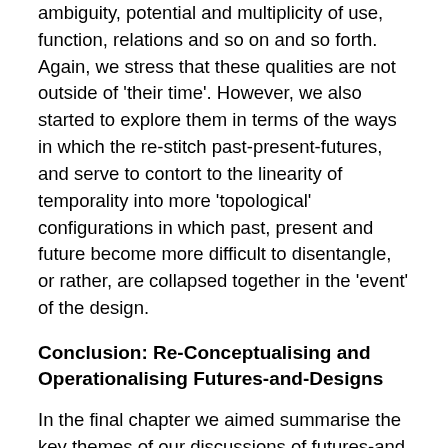ambiguity, potential and multiplicity of use, function, relations and so on and so forth. Again, we stress that these qualities are not outside of 'their time'. However, we also started to explore them in terms of the ways in which the re-stitch past-present-futures, and serve to contort to the linearity of temporality into more 'topological' configurations in which past, present and future become more difficult to disentangle, or rather, are collapsed together in the 'event' of the design.
Conclusion: Re-Conceptualising and Operationalising Futures-and-Designs
In the final chapter we aimed summarise the key themes of our discussions of futures-and designs: the iterative relation between past, present and future, the role of Design in the evocation of such iteration, the performativity